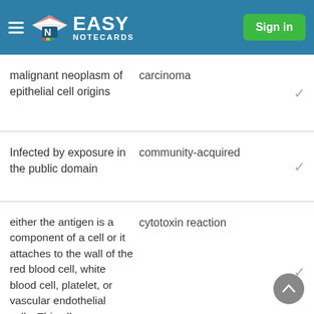Easy Notecards — Sign in
| Term | Definition |  |
| --- | --- | --- |
| malignant neoplasm of epithelial cell origins | carcinoma | ✓ |
| Infected by exposure in the public domain | community-acquired | ✓ |
| either the antigen is a component of a cell or it attaches to the wall of the red blood cell, white blood cell, platelet, or vascular endothelial cells. This allergy involves antibodies that circulate in the blood and attack antigens (the drug) on cell sites, causing | cytotoxin reaction | ✓ |